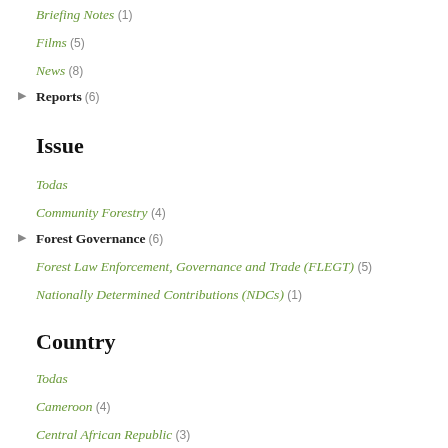Briefing Notes (1)
Films (5)
News (8)
Reports (6)
Issue
Todas
Community Forestry (4)
Forest Governance (6)
Forest Law Enforcement, Governance and Trade (FLEGT) (5)
Nationally Determined Contributions (NDCs) (1)
Country
Todas
Cameroon (4)
Central African Republic (3)
Ghana (4)
Indonesia (4)